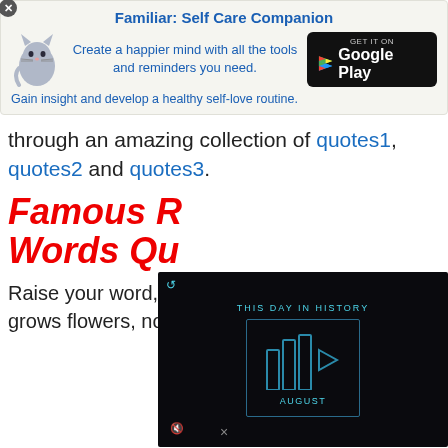[Figure (infographic): Ad banner for Familiar: Self Care Companion app with cat illustration and Google Play button]
through an amazing collection of quotes1, quotes2 and quotes3.
Famous R... Words Qu...
Raise your word, n... grows flowers, not...
[Figure (screenshot): Video player overlay showing 'THIS DAY IN HISTORY' with blue bar chart play icon and AUGUST label, mute icon visible]
×